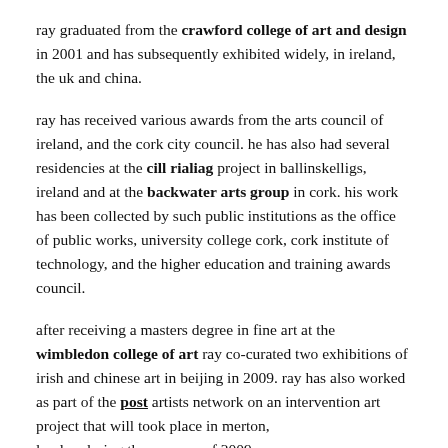ray graduated from the crawford college of art and design in 2001 and has subsequently exhibited widely, in ireland, the uk and china.
ray has received various awards from the arts council of ireland, and the cork city council. he has also had several residencies at the cill rialiag project in ballinskelligs, ireland and at the backwater arts group in cork. his work has been collected by such public institutions as the office of public works, university college cork, cork institute of technology, and the higher education and training awards council.
after receiving a masters degree in fine art at the wimbledon college of art ray co-curated two exhibitions of irish and chinese art in beijing in 2009. ray has also worked as part of the post artists network on an intervention art project that will took place in merton, london during the summer of 2009.